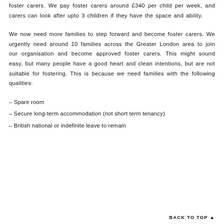foster carers. We pay foster carers around £340 per child per week, and carers can look after upto 3 children if they have the space and ability.
We now need more families to step forward and become foster carers. We urgently need around 10 families across the Greater London area to join our organisation and become approved foster carers. This might sound easy, but many people have a good heart and clean intentions, but are not suitable for fostering. This is because we need families with the following qualities:
– Spare room
– Secure long-term accommodation (not short term tenancy)
– British national or indefinite leave to remain
BACK TO TOP ▲